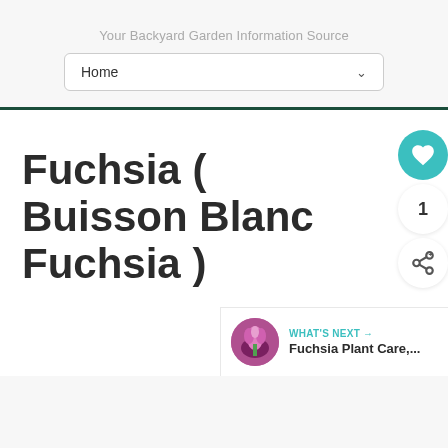Your Backyard Garden Information Source
Home
Fuchsia ( Buisson Blanc Fuchsia )
1
WHAT'S NEXT → Fuchsia Plant Care,...